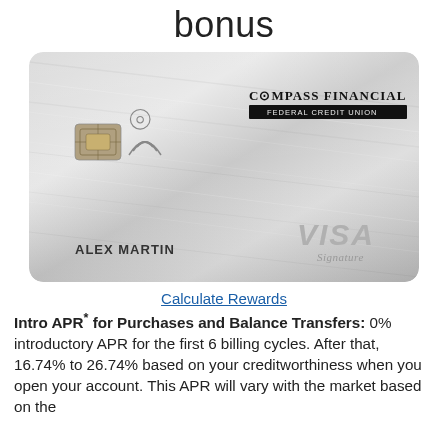bonus
[Figure (photo): Compass Financial Federal Credit Union Visa Signature credit card (silver/metallic), showing chip, contactless symbol, cardholder name ALEX MARTIN, and Visa Signature logo]
Calculate Rewards
Intro APR* for Purchases and Balance Transfers: 0% introductory APR for the first 6 billing cycles. After that, 16.74% to 26.74% based on your creditworthiness when you open your account. This APR will vary with the market based on the